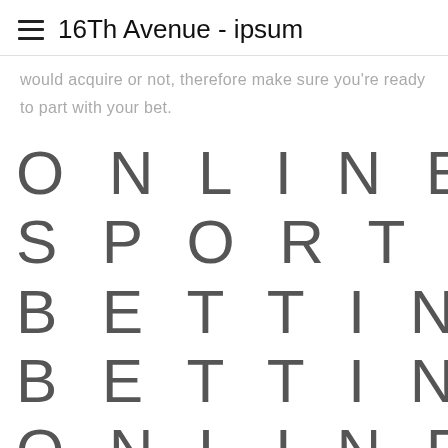16Th Avenue - ipsum
would acquire or not, therefore make sure you're ready to part with your bet.
ONLINE SPORT, SPORT BETTING, BETTING, ONLINE BETTING,